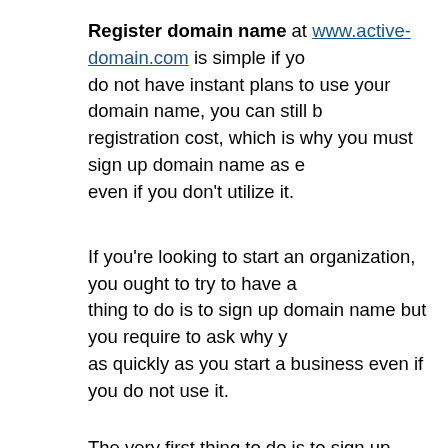Register domain name at www.active-domain.com is simple if you do not have instant plans to use your domain name, you can still b registration cost, which is why you must sign up domain name as e even if you don't utilize it.
If you're looking to start an organization, you ought to try to have a thing to do is to sign up domain name but you require to ask why y as quickly as you start a business even if you do not use it.
The very first thing to do is to sign up domain name but you need t domain name as quickly as you begin a business even if you don't
The appeal of a great domain name is that it will not only lend you reliability however it will also help your Internet marketing methods us reveal you why you must sign up domain name as quickly as yo a good domain name will help you with branding. A strong name w customers to your website and eventually increase company and r
Picking a domain name can be difficult due to the fact that you sho easily remembered by potential clients. Even if you're not intending